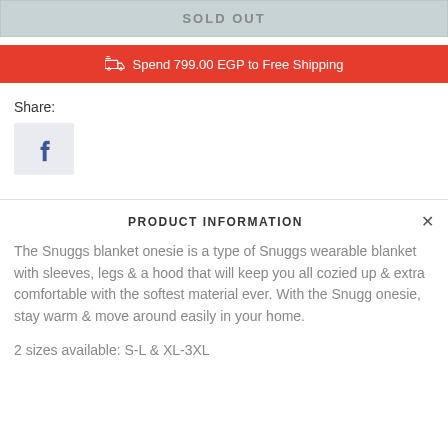SOLD OUT
Spend 799.00 EGP to Free Shipping
Share:
[Figure (logo): Facebook share button icon with 'f' logo on light blue/grey background]
PRODUCT INFORMATION
The Snuggs blanket onesie is a type of Snuggs wearable blanket with sleeves, legs & a hood that will keep you all cozied up & extra comfortable with the softest material ever. With the Snugg onesie, stay warm & move around easily in your home.
2 sizes available: S-L & XL-3XL